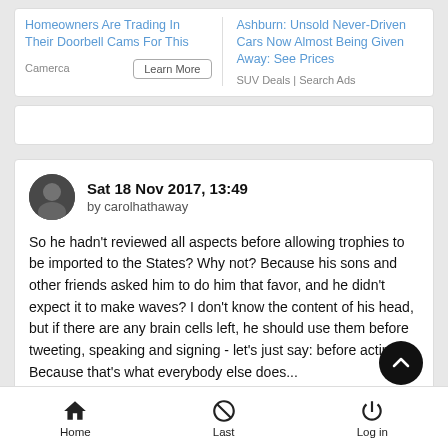Homeowners Are Trading In Their Doorbell Cams For This
Camerca Learn More
Ashburn: Unsold Never-Driven Cars Now Almost Being Given Away: See Prices
SUV Deals | Search Ads
Sat 18 Nov 2017, 13:49 by carolhathaway
So he hadn't reviewed all aspects before allowing trophies to be imported to the States? Why not? Because his sons and other friends asked him to do him that favor, and he didn't expect it to make waves? I don't know the content of his head, but if there are any brain cells left, he should use them before tweeting, speaking and signing - let's just say: before acting! Because that's what everybody else does...
Home Last Log in